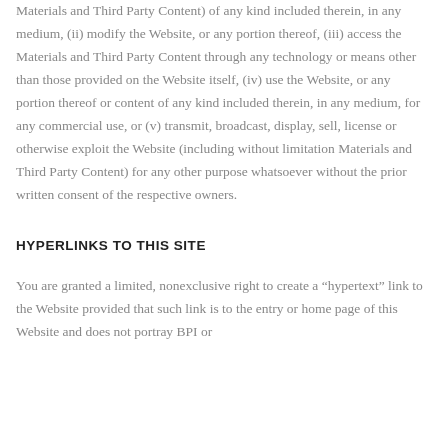Materials and Third Party Content) of any kind included therein, in any medium, (ii) modify the Website, or any portion thereof, (iii) access the Materials and Third Party Content through any technology or means other than those provided on the Website itself, (iv) use the Website, or any portion thereof or content of any kind included therein, in any medium, for any commercial use, or (v) transmit, broadcast, display, sell, license or otherwise exploit the Website (including without limitation Materials and Third Party Content) for any other purpose whatsoever without the prior written consent of the respective owners.
HYPERLINKS TO THIS SITE
You are granted a limited, nonexclusive right to create a "hypertext" link to the Website provided that such link is to the entry or home page of this Website and does not portray BPI or